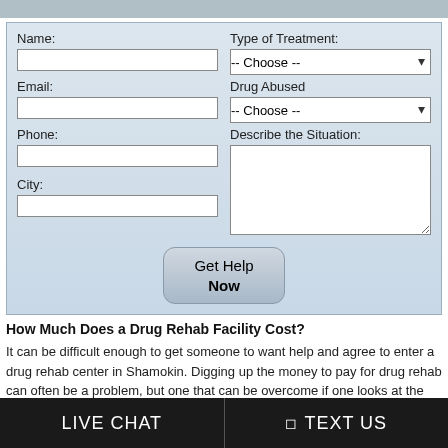[Figure (screenshot): Web form for drug rehab help with fields: Name, Email, Phone, City, Type of Treatment (dropdown), Drug Abused (dropdown), Describe the Situation (textarea), and a Get Help Now button]
How Much Does a Drug Rehab Facility Cost?
It can be difficult enough to get someone to want help and agree to enter a drug rehab center in Shamokin. Digging up the money to pay for drug rehab can often be a problem, but one that can be overcome if one looks at the many possibilities available in Shamokin. Depending on which drug treatment option is chosen, the cost of drug rehabilitation can vary considerably from program to program. Some outpatient and short term drug rehabilitation facilitiescenters[1] for example may be state or
LIVE CHAT   TEXT US